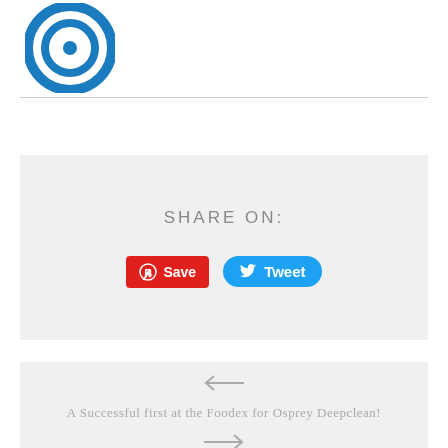[Figure (logo): Blue circular logo with concentric rings and a dot in the center]
SHARE ON:
[Figure (screenshot): Pinterest Save button (red) and Twitter Tweet button (blue)]
[Figure (other): Left arrow navigation icon]
A Successful first at the Foodex for Osprey Deepclean!
[Figure (other): Right arrow navigation icon]
TRADE MISSION HELPS PROSEAL LOOK EAST